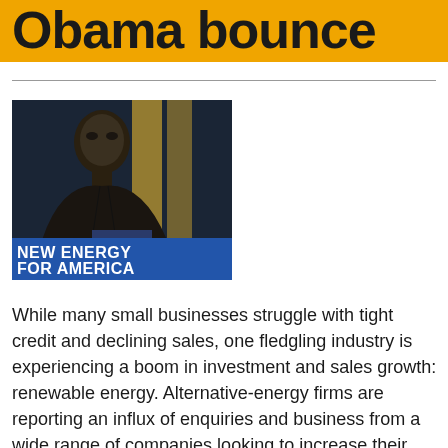Obama bounce
[Figure (photo): Photo of Barack Obama speaking at a podium with 'NEW ENERGY FOR AMERICA' banner visible]
While many small businesses struggle with tight credit and declining sales, one fledgling industry is experiencing a boom in investment and sales growth: renewable energy. Alternative-energy firms are reporting an influx of enquiries and business from a wide range of companies looking to increase their energy efficiency – especially from those that believe the Obama administration will impose stricter regulations requiring them to conserve energy.